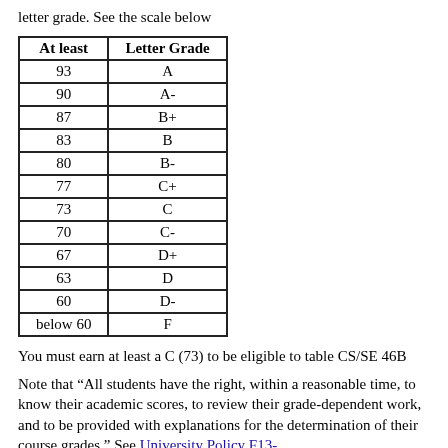letter grade. See the scale below
| At least | Letter Grade |
| --- | --- |
| 93 | A |
| 90 | A- |
| 87 | B+ |
| 83 | B |
| 80 | B- |
| 77 | C+ |
| 73 | C |
| 70 | C- |
| 67 | D+ |
| 63 | D |
| 60 | D- |
| below 60 | F |
You must earn at least a C (73) to be eligible to table CS/SE 46B
Note that “All students have the right, within a reasonable time, to know their academic scores, to review their grade-dependent work, and to be provided with explanations for the determination of their course grades.”  See University Policy F13-1 at http://www.sjsu.edu/senate/docs/F13-1.pdf for more details.”